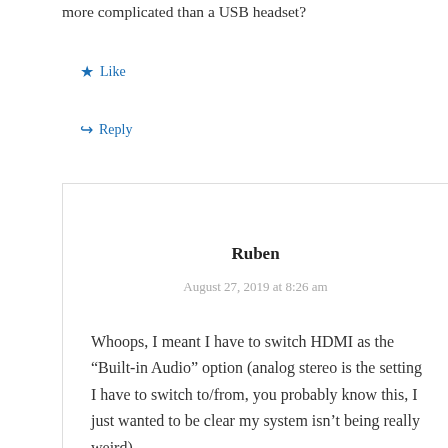more complicated than a USB headset?
★ Like
↪ Reply
Ruben
August 27, 2019 at 8:26 am
Whoops, I meant I have to switch HDMI as the “Built-in Audio” option (analog stereo is the setting I have to switch to/from, you probably know this, I just wanted to be clear my system isn’t being really weird).